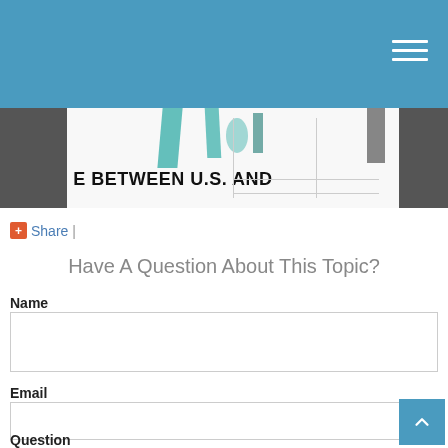[Figure (screenshot): Blue navigation header bar with hamburger menu icon on the right]
[Figure (photo): Dark grey banner with partial image showing text 'E BETWEEN U.S. AND' in bold black letters on white background, with teal/green artistic elements]
+Share  |
Have A Question About This Topic?
Name
Email
Question